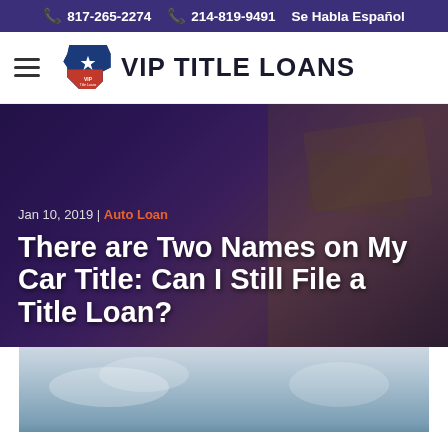817-265-2274  214-819-9491  Se Habla Español
[Figure (logo): VIP Title Loans logo with Texas state outline in blue and red with a star]
Jan 10, 2019 | Auto Loan
There are Two Names on My Car Title: Can I Still File a Title Loan?
[Figure (photo): Cloudy sky photo used as article header image]